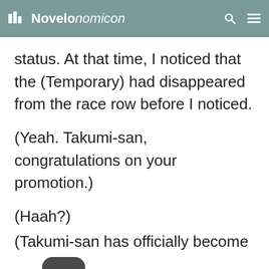Novelonomicon
status. At that time, I noticed that the (Temporary) had disappeared from the race row before I noticed.
(Yeah. Takumi-san, congratulations on your promotion.)
(Haah?)
(Takumi-san has officially become my r...r~)
(Haaaa!?)